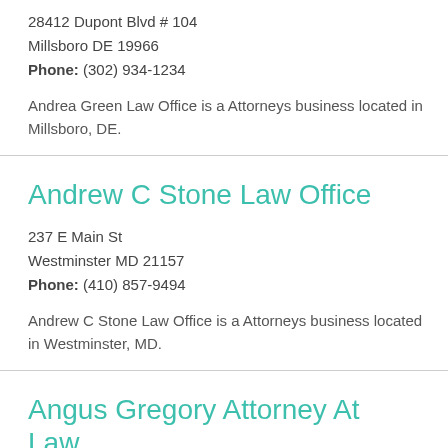28412 Dupont Blvd # 104
Millsboro DE 19966
Phone: (302) 934-1234
Andrea Green Law Office is a Attorneys business located in Millsboro, DE.
Andrew C Stone Law Office
237 E Main St
Westminster MD 21157
Phone: (410) 857-9494
Andrew C Stone Law Office is a Attorneys business located in Westminster, MD.
Angus Gregory Attorney At Law